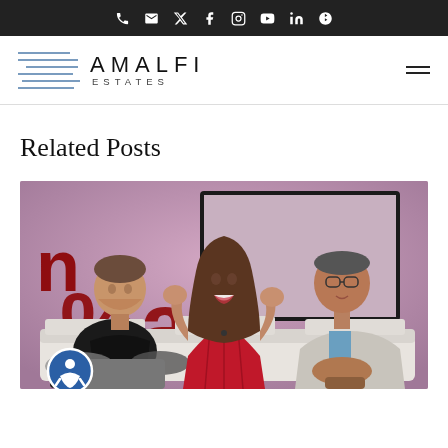Amalfi Estates — top navigation bar with social icons and logo
Related Posts
[Figure (photo): Three people sitting on a white couch on a stage. A woman in a red dress in the center is smiling and gesturing with her hands. A man in a black t-shirt sits to her left, and an older man in a light grey blazer sits to her right. There is a pink and red backdrop behind them with partial text visible.]